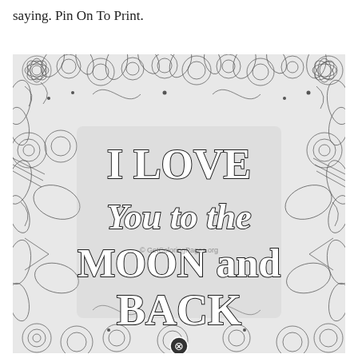saying. Pin On To Print.
[Figure (illustration): A detailed black and white adult coloring page with intricate floral, leaf, and doodle patterns in the background. Overlaid in large decorative script/serif lettering are the words 'I LOVE You to the MOON and BACK'. A watermark reads '© GetColoringPages.org'. A small circular close button icon appears at the bottom center.]